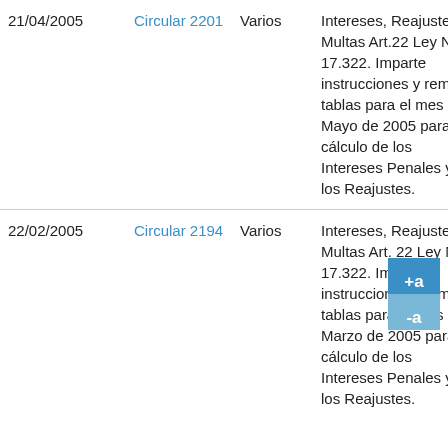| Fecha | Circular | Destinatario | Descripción |  |
| --- | --- | --- | --- | --- |
| 21/04/2005 | Circular 2201 | Varios | Intereses, Reajustes y Multas Art.22 Ley N° 17.322. Imparte instrucciones y remite tablas para el mes de Mayo de 2005 para el cálculo de los Intereses Penales y de los Reajustes. |  |
| 22/02/2005 | Circular 2194 | Varios | Intereses, Reajustes y Multas Art. 22 Ley N° 17.322. Imparte instrucciones y remite tablas para el mes de Marzo de 2005 para el cálculo de los Intereses Penales y de los Reajustes. |  |